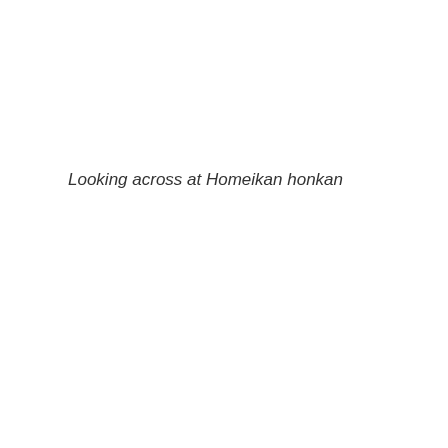Looking across at Homeikan honkan